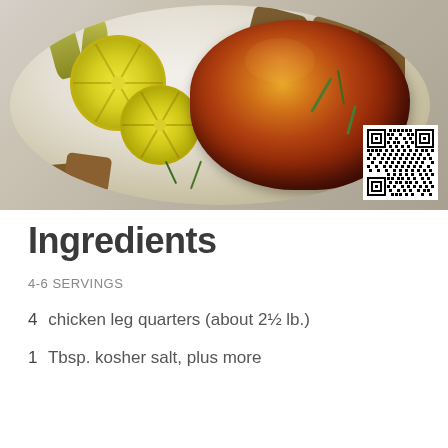[Figure (photo): Roasted chicken leg quarters on a white plate with lemon slices, leeks, and potato chunks garnished with chives. A QR code is visible in the bottom right corner of the photo.]
Ingredients
4-6 SERVINGS
4  chicken leg quarters (about 2½ lb.)
1  Tbsp. kosher salt, plus more